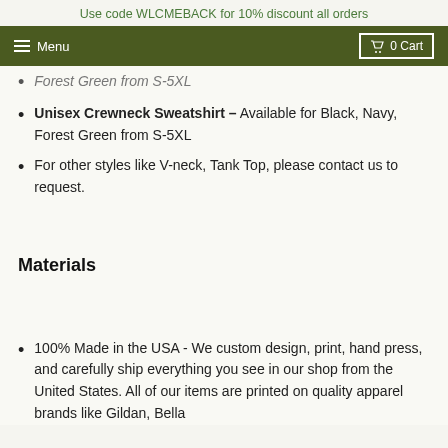Use code WLCMEBACK for 10% discount all orders
Forest Green from S-5XL
Unisex Crewneck Sweatshirt - Available for Black, Navy, Forest Green from S-5XL
For other styles like V-neck, Tank Top, please contact us to request.
Materials
100% Made in the USA - We custom design, print, hand press, and carefully ship everything you see in our shop from the United States. All of our items are printed on quality apparel brands like Gildan, Bella